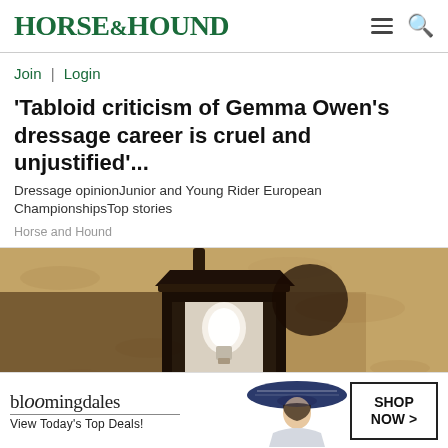HORSE&HOUND
Join | Login
'Tabloid criticism of Gemma Owen's dressage career is cruel and unjustified'...
Dressage opinionJunior and Young Rider European ChampionshipsTop stories
Horse and Hound
[Figure (photo): A close-up photograph of a vintage outdoor wall lantern mounted on a sandy/stucco textured wall, photographed from below at an angle.]
[Figure (other): Bloomingdale's advertisement banner. Shows the Bloomingdale's logo with tagline 'View Today's Top Deals!' and a woman in a wide-brimmed navy hat, with a 'SHOP NOW >' call-to-action button.]